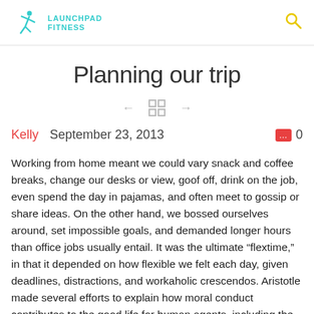LAUNCHPAD FITNESS
Planning our trip
Kelly   September 23, 2013   0
Working from home meant we could vary snack and coffee breaks, change our desks or view, goof off, drink on the job, even spend the day in pajamas, and often meet to gossip or share ideas. On the other hand, we bossed ourselves around, set impossible goals, and demanded longer hours than office jobs usually entail. It was the ultimate “flextime,” in that it depended on how flexible we felt each day, given deadlines, distractions, and workaholic crescendos. Aristotle made several efforts to explain how moral conduct contributes to the good life for human agents, including the Eqikh EudaimonhV and the Magna Moralia, but the most complete surviving statement of his views on morality occurs in the Eqikh